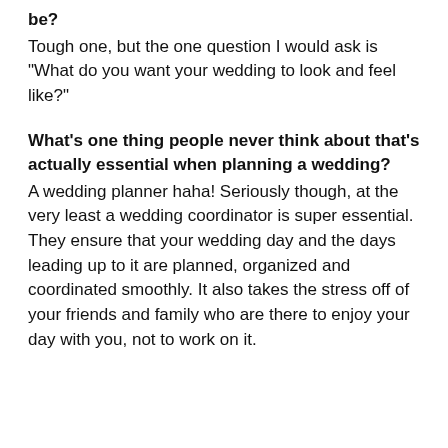be?
Tough one, but the one question I would ask is "What do you want your wedding to look and feel like?"
What's one thing people never think about that's actually essential when planning a wedding?
A wedding planner haha! Seriously though, at the very least a wedding coordinator is super essential. They ensure that your wedding day and the days leading up to it are planned, organized and coordinated smoothly. It also takes the stress off of your friends and family who are there to enjoy your day with you, not to work on it.